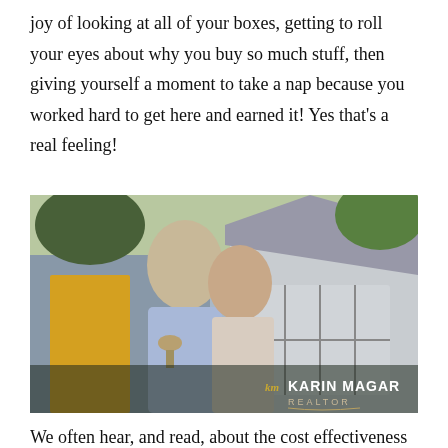joy of looking at all of your boxes, getting to roll your eyes about why you buy so much stuff, then giving yourself a moment to take a nap because you worked hard to get here and earned it! Yes that's a real feeling!
[Figure (photo): A smiling couple standing in front of their new house. The man holds up house keys toward the camera. In the bottom right corner is a logo reading 'KARIN MAGAR REALTOR' with a stylized signature.]
We often hear, and read, about the cost effectiveness of